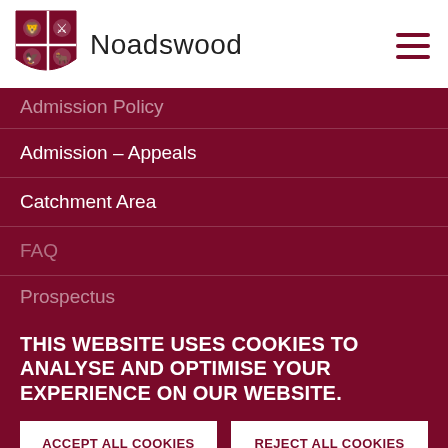[Figure (logo): Noadswood school crest/shield logo with four quadrants containing animal emblems in dark red and white]
Noadswood
Admission Policy
Admission – Appeals
Catchment Area
FAQ
Prospectus
THIS WEBSITE USES COOKIES TO ANALYSE AND OPTIMISE YOUR EXPERIENCE ON OUR WEBSITE.
ACCEPT ALL COOKIES
REJECT ALL COOKIES